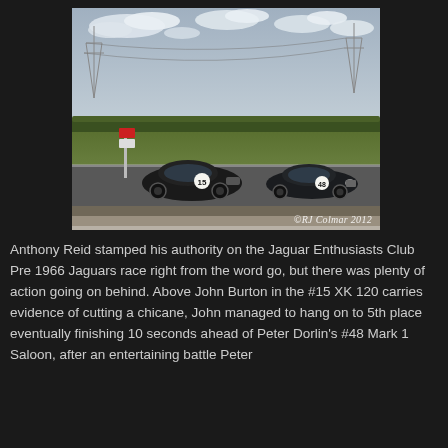[Figure (photo): Two dark-coloured vintage Jaguar racing cars on a race track. The left car bears number 15 (XK 120) and has a red-and-white flag marshal post nearby. The right car is a Mark 1 Saloon. Background shows a cloudy sky, tree line, and electricity pylons. Watermark reads '©RJ Colmar 2012'.]
Anthony Reid stamped his authority on the Jaguar Enthusiasts Club Pre 1966 Jaguars race right from the word go, but there was plenty of action going on behind. Above John Burton in the #15 XK 120 carries evidence of cutting a chicane, John managed to hang on to 5th place eventually finishing 10 seconds ahead of Peter Dorlin's #48 Mark 1 Saloon, after an entertaining battle Peter